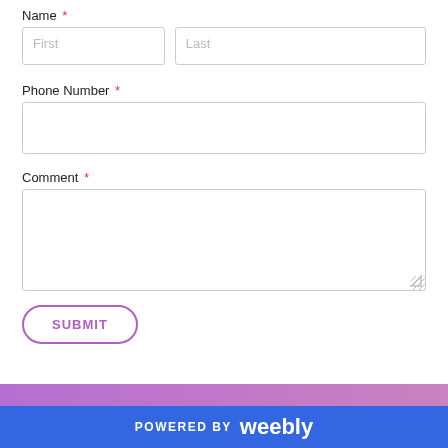Name *
[Figure (screenshot): Web contact form showing Name (First/Last), Phone Number, and Comment input fields with a Submit button, and a Weebly powered-by footer bar.]
Phone Number *
Comment *
SUBMIT
POWERED BY weebly